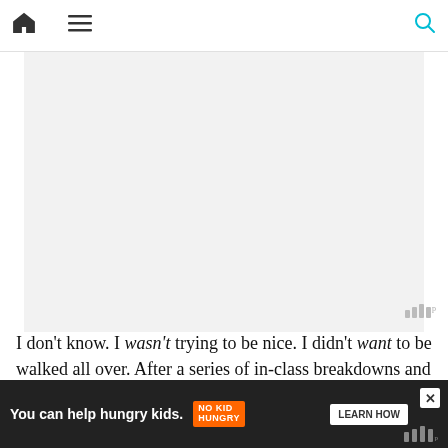Navigation bar with home, menu, and search icons
[Figure (photo): Large image placeholder area with light gray background]
I don't know. I wasn't trying to be nice. I didn't want to be walked all over. After a series of in-class breakdowns and a principal-instigated "mental health vacation," my doctor wrote an actual doctor's excuse pres[...] my 6[...] And [...] ployment.
[Figure (other): Advertisement banner: 'You can help hungry kids. NO KID HUNGRY. LEARN HOW']